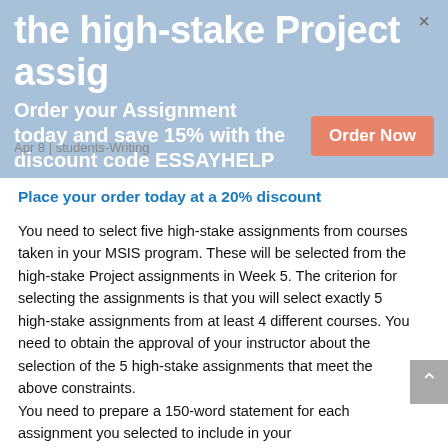the high-stake Project assig
Order your Assignment today and save 15% with the discount code ESSAYHELP
Order Now
Apr 8 | students-Writing
Place your order today at a 20% discount
You need to select five high-stake assignments from courses taken in your MSIS program. These will be selected from the high-stake Project assignments in Week 5. The criterion for selecting the assignments is that you will select exactly 5 high-stake assignments from at least 4 different courses. You need to obtain the approval of your instructor about the selection of the 5 high-stake assignments that meet the above constraints.
You need to prepare a 150-word statement for each assignment you selected to include in your